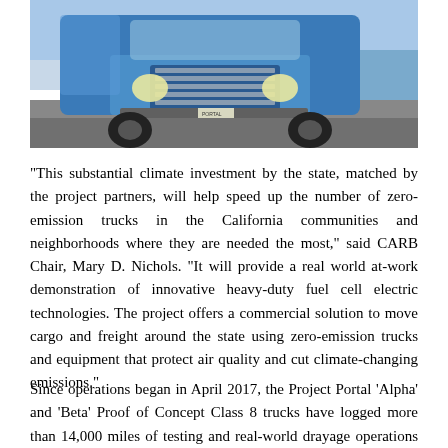[Figure (photo): Front view of a blue Class 8 semi-truck (hydrogen fuel cell electric truck) parked near a waterfront. The truck has a blue cab with a large chrome grille and headlights visible.]
"This substantial climate investment by the state, matched by the project partners, will help speed up the number of zero-emission trucks in the California communities and neighborhoods where they are needed the most," said CARB Chair, Mary D. Nichols. "It will provide a real world at-work demonstration of innovative heavy-duty fuel cell electric technologies. The project offers a commercial solution to move cargo and freight around the state using zero-emission trucks and equipment that protect air quality and cut climate-changing emissions."
Since operations began in April 2017, the Project Portal 'Alpha' and 'Beta' Proof of Concept Class 8 trucks have logged more than 14,000 miles of testing and real-world drayage operations in and around the ports of Los